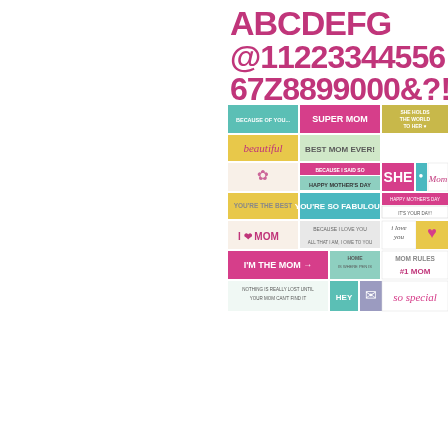[Figure (illustration): Scrapbooking sticker sheet with Mother's Day themed word stickers and alphanumeric characters in pink/magenta. Contains phrases like SUPER MOM, beautiful, BEST MOM EVER!, SHE, Mom, YOU'RE THE BEST, YOU'RE SO FABULOUS, I love MOM, I'M THE MOM, HOME, MOM RULES #1 MOM, so special, NOTHING IS REALLY LOST UNTIL YOUR MOM CAN'T FIND IT, HEY, BECAUSE OF YOU, HAPPY MOTHER'S DAY, and large pink alphabet/number characters @1122334556:67Z8899000&?!]
Graceful I #6003
[Figure (photo): Pink polka dot scrapbook paper with small dark pink dots on light pink background, with a corner of floral patterned paper visible at bottom right]